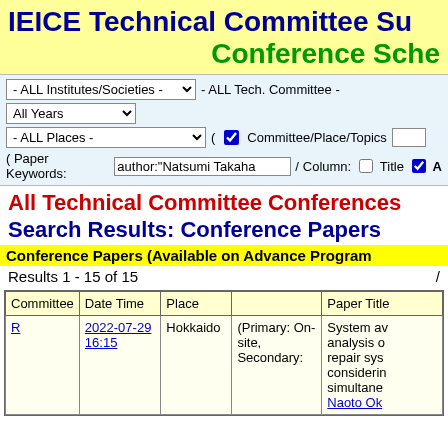IEICE Technical Committee Su Conference Sche
- ALL Institutes/Societies -  - ALL Tech. Committee -  All Years
- ALL Places -  ( ☑ Committee/Place/Topics
( Paper Keywords: author:"Natsumi Takaha  /  Column: ☐ Title ☑ A
All Technical Committee Conferences
Search Results: Conference Papers
Conference Papers (Available on Advance Program
Results 1 - 15 of 15  /
| Committee | Date Time | Place |  | Paper Title |
| --- | --- | --- | --- | --- |
| R | 2022-07-29 16:15 | Hokkaido | (Primary: On-site, Secondary: | System av analysis o repair sys considerin simultane Naoto Ok |